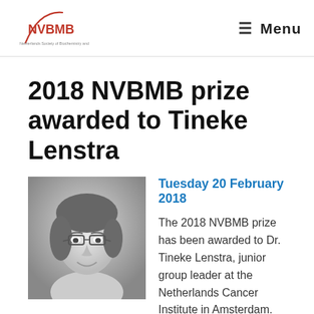NVBMB  ≡ Menu
2018 NVBMB prize awarded to Tineke Lenstra
[Figure (photo): Black and white portrait photo of Dr. Tineke Lenstra, a woman with glasses and shoulder-length wavy hair, smiling.]
Tuesday 20 February 2018
The 2018 NVBMB prize has been awarded to Dr. Tineke Lenstra, junior group leader at the Netherlands Cancer Institute in Amsterdam. Supported by an ERC starting grant Dr. Lenstra studies the dynamics and regulation of transcription in living cells. In particular, she